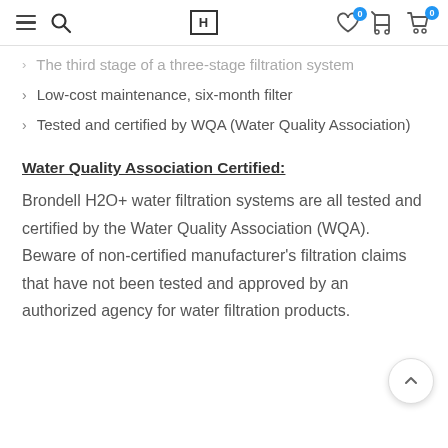Navigation bar with menu, search, logo, wishlist (0), cart (0) icons
The third stage of a three-stage filtration system
Low-cost maintenance, six-month filter
Tested and certified by WQA (Water Quality Association)
Water Quality Association Certified:
Brondell H2O+ water filtration systems are all tested and certified by the Water Quality Association (WQA). Beware of non-certified manufacturer’s filtration claims that have not been tested and approved by an authorized agency for water filtration products.